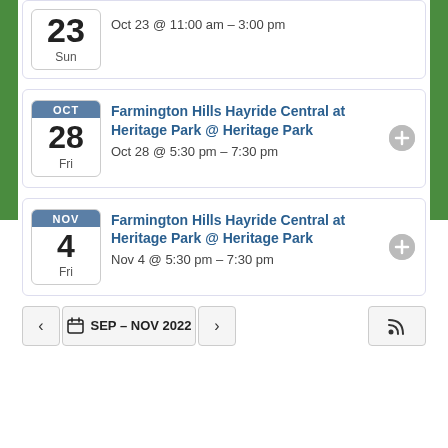Oct 23 @ 11:00 am – 3:00 pm
Farmington Hills Hayride Central at Heritage Park @ Heritage Park
Oct 28 @ 5:30 pm – 7:30 pm
Farmington Hills Hayride Central at Heritage Park @ Heritage Park
Nov 4 @ 5:30 pm – 7:30 pm
SEP – NOV 2022